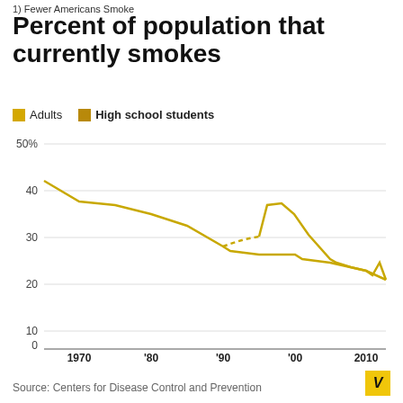1) Fewer Americans Smoke
Percent of population that currently smokes
[Figure (line-chart): Percent of population that currently smokes]
Source: Centers for Disease Control and Prevention